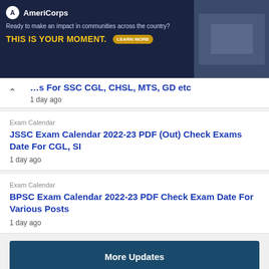[Figure (screenshot): AmeriCorps advertisement banner with dark navy background, logo, tagline 'Ready to make an impact in communities across the country?', 'THIS IS YOUR MOMENT.' in yellow, LEARN MORE button, and photo of students at computers on right]
es For SSC CGL, CHSL, MTS, GD etc
1 day ago
Exam Calendar
JSSC Exam Calendar 2022-23 PDF (Out) Check Exams Date For CGL, SI
1 day ago
Exam Calendar
BPSC Exam Calendar 2022-23 PDF Check Exam Date For Various Posts
1 day ago
More Updates
Govt. Jobs 2022 | Board Exam 2022 | Admit Card Download | Results | Railway jobs